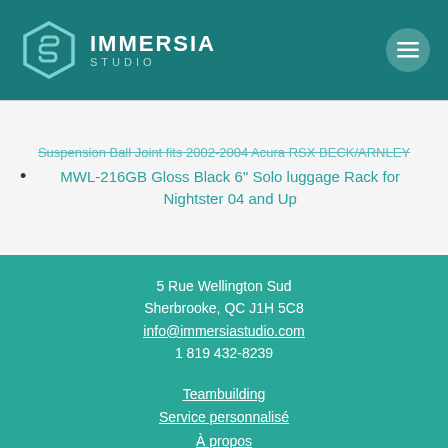IMMERSIA STUDIO
Suspension Ball Joint fits 2002-2004 Acura RSX BECK/ARNLEY
MWL-216GB Gloss Black 6" Solo luggage Rack for Nightster 04 and Up
5 Rue Wellington Sud
Sherbrooke, QC J1H 5C8
info@immersiastudio.com
1 819 432-8239
Teambuilding
Service personnalisé
À propos
Contact